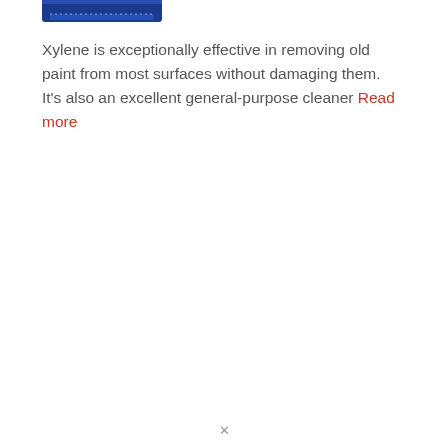[Figure (photo): Partial view of a blue product container/bottle, cropped at top of page]
Xylene is exceptionally effective in removing old paint from most surfaces without damaging them. It's also an excellent general-purpose cleaner Read more